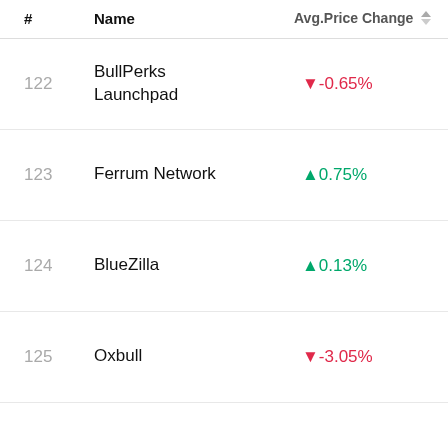| # | Name | Avg.Price Change | Top Gainers |
| --- | --- | --- | --- |
| 122 | BullPerks Launchpad | ▼-0.65% |  |
| 123 | Ferrum Network | ▲0.75% |  |
| 124 | BlueZilla | ▲0.13% |  |
| 125 | Oxbull | ▼-3.05% | ↑ |